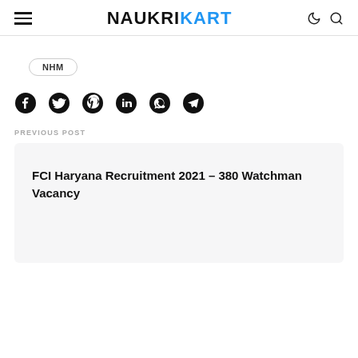NAUKRIKART
NHM
[Figure (infographic): Social share icons: Facebook, Twitter, Pinterest, LinkedIn, WhatsApp, Telegram]
PREVIOUS POST
FCI Haryana Recruitment 2021 – 380 Watchman Vacancy